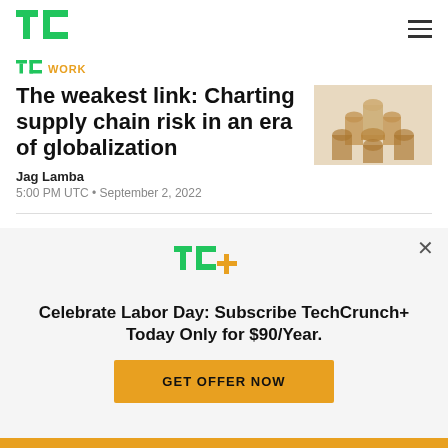TechCrunch header with TC logo and hamburger menu
WORK
The weakest link: Charting supply chain risk in an era of globalization
Jag Lamba
5:00 PM UTC • September 2, 2022
[Figure (photo): Stack of cardboard tubes arranged in a pyramid shape on a light beige background]
Where we'll be next
TC+ Celebrate Labor Day: Subscribe TechCrunch+ Today Only for $90/Year.
GET OFFER NOW